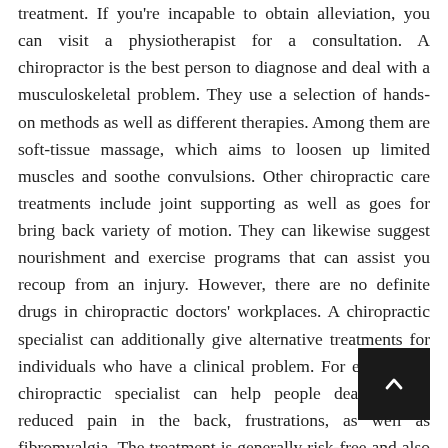treatment. If you're incapable to obtain alleviation, you can visit a physiotherapist for a consultation. A chiropractor is the best person to diagnose and deal with a musculoskeletal problem. They use a selection of hands-on methods as well as different therapies. Among them are soft-tissue massage, which aims to loosen up limited muscles and soothe convulsions. Other chiropractic care treatments include joint supporting as well as goes for bring back variety of motion. They can likewise suggest nourishment and exercise programs that can assist you recoup from an injury. However, there are no definite drugs in chiropractic doctors' workplaces. A chiropractic specialist can additionally give alternative treatments for individuals who have a clinical problem. For example, a chiropractic specialist can help people dealing with reduced pain in the back, frustrations, as well as fibromyalgia. The treatment is generally risk-free and also effective and also has actually verified to be efficient in many cases. A chiropractic physician can treat a selection of problems, from spinal problems to muscle mass discomfort. You can even
[Figure (other): Dark scroll-to-top button with upward arrow icon in bottom-right corner]